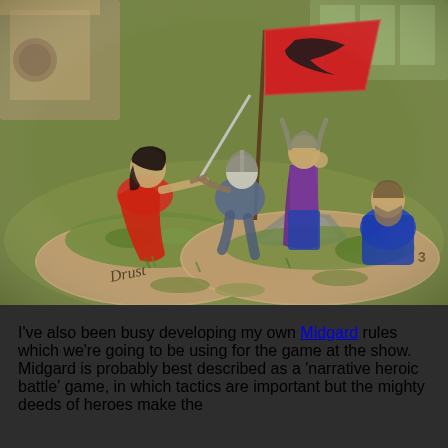[Figure (photo): Close-up photograph of painted miniature wargaming figures on scenic bases. Figures depict medieval/Viking warriors with a banner showing a bird motif, one warrior in red cloak, one in purple cloak, and others in armor. Base labels read 'Drust'. Green gaming mat visible in background.]
I've also been busy developing my own Midgard rules which we're going to be using for the game at the show. Midgard is probably best described as a 'narrative heroic battle' game, in which tactics are important but the mighty deeds of heroes make the